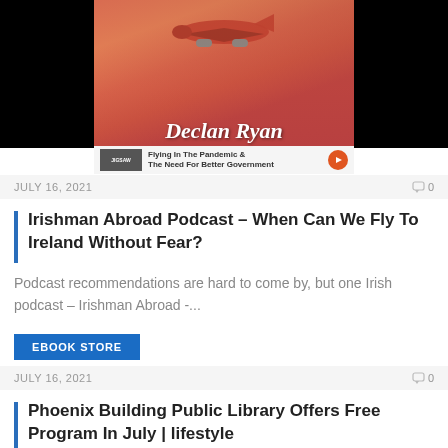[Figure (photo): Thumbnail image showing a plane from below against a red/orange sunset sky, with 'Declan Ryan' in cursive script text and 'Flying In The Pandemic & The Need For Better Government' subtitle, with a play button icon]
JULY 16, 2021   🗨 0
Irishman Abroad Podcast – When Can We Fly To Ireland Without Fear?
Podcast recommendations are hard to come by, but one Irish podcast – Irishman Abroad -...
EBOOK STORE
JULY 16, 2021   🗨 0
Phoenix Building Public Library Offers Free Program In July | lifestyle
Upcoming Adult Programs from Phoenix Building Public Library: